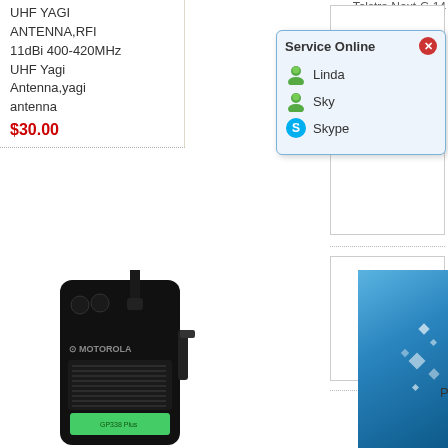UHF YAGI ANTENNA,RFI 11dBi 400-420MHz UHF Yagi Antenna,yagi antenna $30.00
[Figure (photo): Motorola GP338 Plus handheld two-way radio (walkie-talkie) in black]
[Figure (screenshot): Service Online chat popup with Linda, Sky, and Skype contact options]
Telstra Next-G 14
Page:1/Total:1  Go to page  1
[Figure (other): Three empty product image placeholder boxes in middle column]
[Figure (photo): Blue gradient decorative panel on the right side of page]